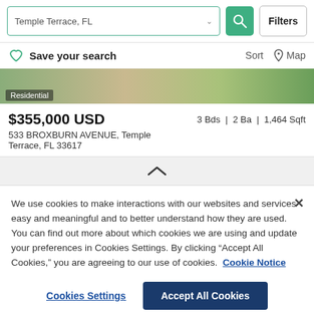Temple Terrace, FL — Search bar with Filters button
Save your search   Sort   Map
[Figure (photo): Partial view of a residential property exterior with greenery, labeled 'Residential']
$355,000 USD   3 Bds | 2 Ba | 1,464 Sqft
533 BROXBURN AVENUE, Temple Terrace, FL 33617
^ (collapse/expand chevron)
We use cookies to make interactions with our websites and services easy and meaningful and to better understand how they are used. You can find out more about which cookies we are using and update your preferences in Cookies Settings. By clicking "Accept All Cookies," you are agreeing to our use of cookies.  Cookie Notice
Cookies Settings   Accept All Cookies